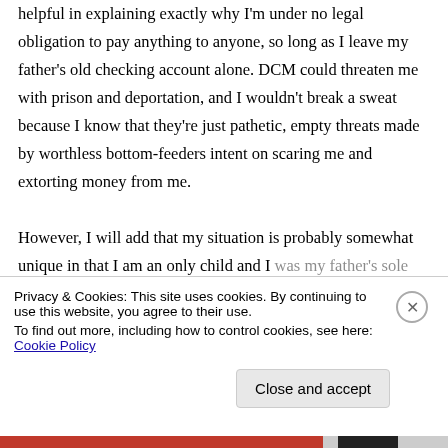helpful in explaining exactly why I'm under no legal obligation to pay anything to anyone, so long as I leave my father's old checking account alone. DCM could threaten me with prison and deportation, and I wouldn't break a sweat because I know that they're just pathetic, empty threats made by worthless bottom-feeders intent on scaring me and extorting money from me.

However, I will add that my situation is probably somewhat unique in that I am an only child and I was my father's sole beneficiary for anything and
Privacy & Cookies: This site uses cookies. By continuing to use this website, you agree to their use.
To find out more, including how to control cookies, see here: Cookie Policy